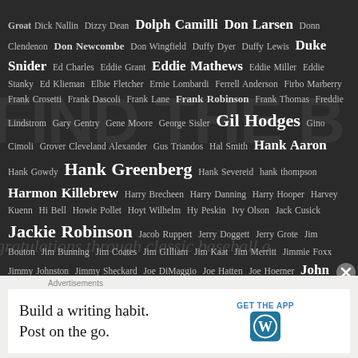Groat Dick Nallin Dizzy Dean Dolph Camilli Don Larsen Donn Clendenon Don Newcombe Don Wingfield Duffy Dyer Duffy Lewis Duke Snider Ed Charles Eddie Grant Eddie Mathews Eddie Miller Eddie Stanky Ed Klieman Elbie Fletcher Ernie Lombardi Ferrell Anderson Firbo Marberry Frank Crosetti Frank Dascoli Frank Lane Frank Robinson Frank Thomas Freddie Lindstrom Gary Gentry Gene Moore George Sisler Gil Hodges Gino Cimoli Grover Cleveland Alexander Gus Triandos Hal Smith Hank Aaron Hank Gowdy Hank Greenberg Hank Severeid hank thompson Harmon Killebrew Harry Brecheen Harry Danning Harry Hooper Harvey Kuenn Hi Bell Howie Pollet Hoyt Wilhelm Hy Peskin Ivy Olson Jack Cusick Jackie Robinson Jacob Ruppert Jerry Doggett Jerry Grote Jim Bouton Jim Bunning Jim Coates Jim GIlliam Jim Kaat Jim Merritt Jimmie Foxx Jimmy Johnston Jimmy Sheckard Joe DiMaggio Joe Hatten Joe Hoerner John McGraw Johnny Callison Johnny Mostil John Stone Josh Gibson Ken Boswell Kenesaw Mountain
[Figure (infographic): Advertisement banner: Build a writing habit. Post on the go. GET THE APP with WordPress logo]
Advertisements